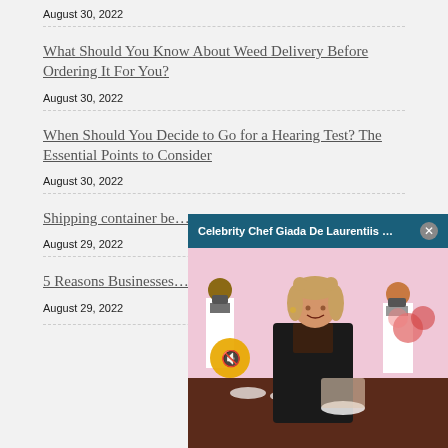August 30, 2022
What Should You Know About Weed Delivery Before Ordering It For You?
August 30, 2022
When Should You Decide to Go for a Hearing Test? The Essential Points to Consider
August 30, 2022
Shipping container be…
August 29, 2022
5 Reasons Businesses…
August 29, 2022
[Figure (screenshot): Video overlay popup showing Celebrity Chef Giada De Laurentiis with a teal header bar, close button, mute icon, and a photo of Giada smiling at a cooking event with staff in background]